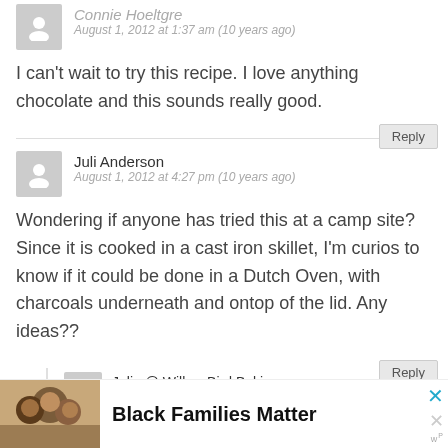[Figure (illustration): Gray avatar silhouette icon for first commenter]
Connie Hoeltgre
August 1, 2012 at 1:37 am (10 years ago)
I can’t wait to try this recipe. I love anything chocolate and this sounds really good.
Reply
[Figure (illustration): Gray avatar silhouette icon for Juli Anderson]
Juli Anderson
August 1, 2012 at 4:27 pm (10 years ago)
Wondering if anyone has tried this at a camp site? Since it is cooked in a cast iron skillet, I’m curios to know if it could be done in a Dutch Oven, with charcoals underneath and ontop of the lid. Any ideas??
Reply
[Figure (illustration): Gray avatar silhouette icon for nested reply commenter]
Julie @ Willow Bird Baking
August 1, 2012 at 4:51 pm (10 years ago)
[Figure (photo): Advertisement banner: Black Families Matter with photo of smiling family]
Black Families Matter